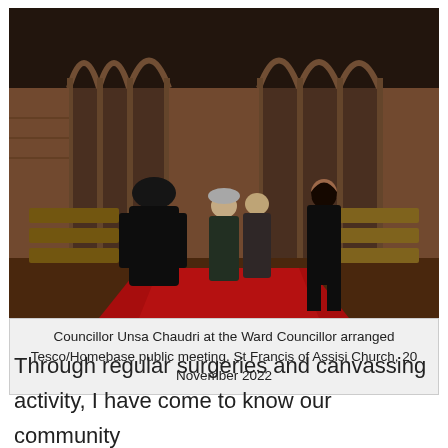[Figure (photo): Interior of St Francis of Assisi Church showing several people standing on a red carpet aisle between wooden pews, with Gothic brick arches in the background. A young woman in dark clothing stands facing a group of older visitors. Councillor Unsa Chaudri is meeting attendees at a Ward Councillor arranged Tesco/Homebase public meeting.]
Councillor Unsa Chaudri at the Ward Councillor arranged Tesco/Homebase public meeting. St Francis of Assisi Church, 20 November 2022
Through regular surgeries and canvassing activity, I have come to know our community